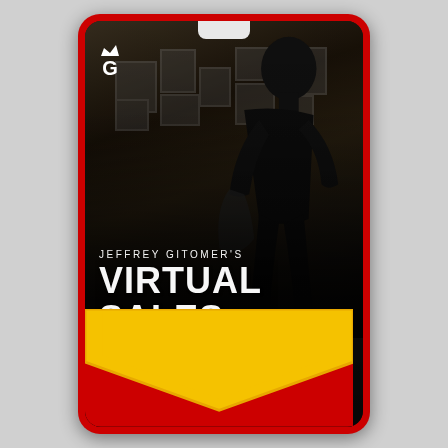[Figure (illustration): Conference/event badge lanyard card with red border and rounded corners. Shows a silhouetted man standing in a dark room with framed pictures on the wall. A yellow chevron design appears at the bottom of the badge. A 'G' logo with a crown appears in the top left corner. There is a lanyard clip tab at the top center.]
JEFFREY GITOMER'S
VIRTUAL SALES SEMINAR SERIES